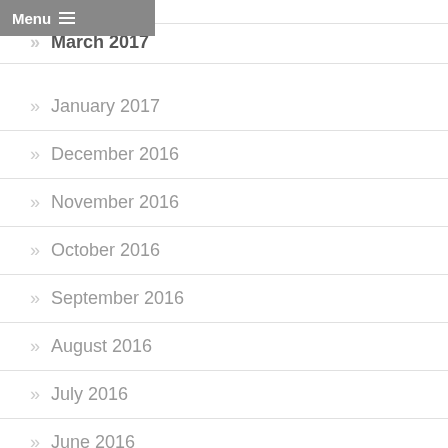April 2017
March 2017
January 2017
December 2016
November 2016
October 2016
September 2016
August 2016
July 2016
June 2016